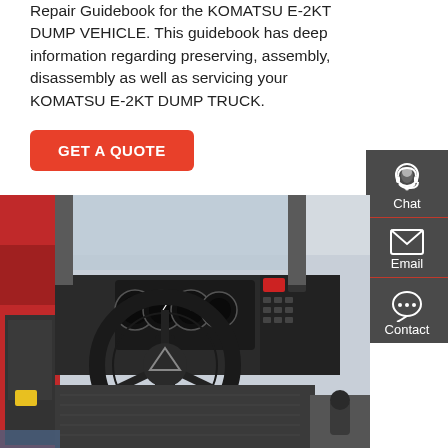Repair Guidebook for the KOMATSU E-2KT DUMP VEHICLE. This guidebook has deep information regarding preserving, assembly, disassembly as well as servicing your KOMATSU E-2KT DUMP TRUCK.
GET A QUOTE
[Figure (photo): Interior cab view of KOMATSU E-2KT dump truck showing steering wheel, instrument cluster with gauges, dashboard controls, and red cab door interior]
Chat
Email
Contact